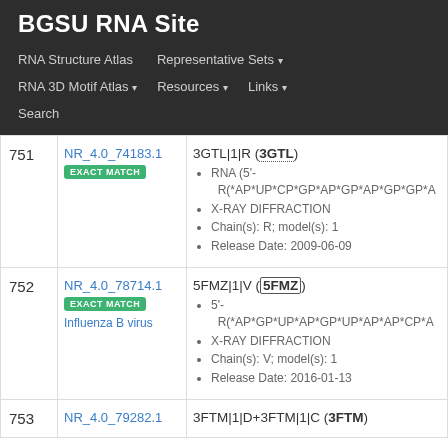BGSU RNA Site
RNA Structure Atlas | Representative Sets ▾ | RNA 3D Motif Atlas ▾ | Resources ▾ | Links ▾ | Search
| # | ID | Details |
| --- | --- | --- |
| 751 | NR_4.0_74183.1
EXACT MATCH | 3GTL|1|R (3GTL)
• RNA (5'-R(*AP*UP*CP*GP*AP*GP*AP*GP*GP*A
• X-RAY DIFFRACTION
• Chain(s): R; model(s): 1
• Release Date: 2009-06-09 |
| 752 | NR_4.0_78714.1
EXACT MATCH
Influenza B virus | 5FMZ|1|V (5FMZ)
• 5'-R(*AP*GP*UP*AP*GP*UP*AP*AP*CP*A
• X-RAY DIFFRACTION
• Chain(s): V; model(s): 1
• Release Date: 2016-01-13 |
| 753 | NR_4.0_79282.1 | 3FTM|1|D+3FTM|1|C (3FTM) |